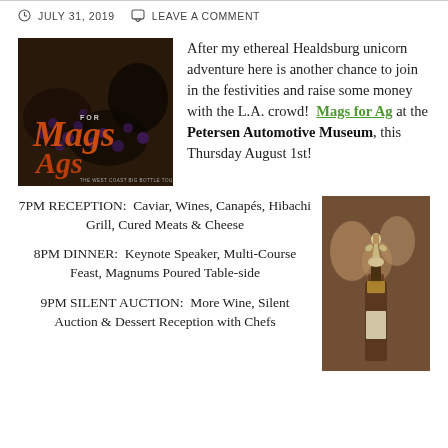JULY 31, 2019   LEAVE A COMMENT
[Figure (photo): Mags for Ag event promotional image showing hands with grapes and orange Mags for Ag logo text]
After my ethereal Healdsburg unicorn adventure here is another chance to join in the festivities and raise some money with the L.A. crowd!  Mags for Ag at the Petersen Automotive Museum, this Thursday August 1st!
7PM RECEPTION:  Caviar, Wines, Canapés, Hibachi Grill, Cured Meats & Cheese
8PM DINNER:  Keynote Speaker, Multi-Course Feast, Magnums Poured Table-side
9PM SILENT AUCTION:  More Wine, Silent Auction & Dessert Reception with Chefs
[Figure (photo): Event photo showing people at a wine event with a decorative bottle stopper in the foreground]